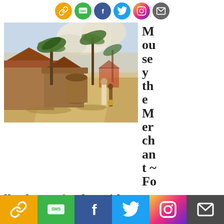Social share icons row at top
[Figure (photo): Painting of an African or tropical village scene with thatched-roof huts along a dirt road, palm trees, and two figures standing in the street]
Mouse the Merchant ~ Folktale Stories for Kids
Social share icons row at bottom: link, SMS, Facebook, Twitter, Instagram, Email